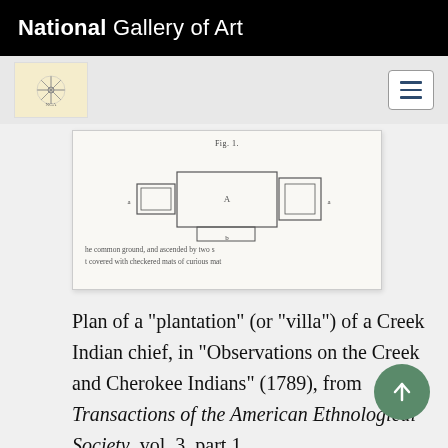National Gallery of Art
[Figure (screenshot): Screenshot of National Gallery of Art website navigation bar with logo icon and hamburger menu button]
[Figure (illustration): Plan diagram (Fig. 1) of a Creek Indian plantation showing rectangular building layouts with geometric floor plan shapes, and partial caption text reading 'he common ground, and ascended by two s t covered with checkered mats of curious mat']
Plan of a "plantation" (or "villa") of a Creek Indian chief, in “Observations on the Creek and Cherokee Indians” (1789), from Transactions of the American Ethnological Society, vol. 3, part 1